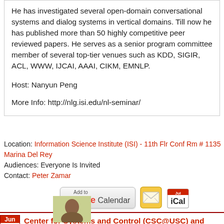He has investigated several open-domain conversational systems and dialog systems in vertical domains. Till now he has published more than 50 highly competitive peer reviewed papers. He serves as a senior program committee member of several top-tier venues such as KDD, SIGIR, ACL, WWW, IJCAI, AAAI, CIKM, EMNLP.
Host: Nanyun Peng
More Info: http://nlg.isi.edu/nl-seminar/
Location: Information Science Institute (ISI) - 11th Flr Conf Rm # 1135, Marina Del Rey
Audiences: Everyone Is Invited
Contact: Peter Zamar
[Figure (screenshot): Add to Google Calendar button, envelope icon, and iCal icon]
Center for Systems and Control (CSC@USC) and Ming Hsieh Institute for Electrical Engineering
[Figure (photo): Headshot photo of a person]